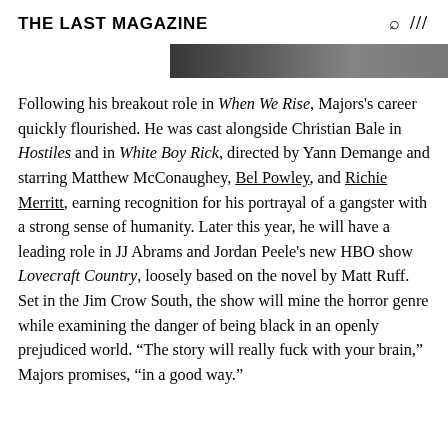THE LAST MAGAZINE
[Figure (photo): Partial image strip at top right, dark/black background with faint imagery]
Following his breakout role in When We Rise, Majors's career quickly flourished. He was cast alongside Christian Bale in Hostiles and in White Boy Rick, directed by Yann Demange and starring Matthew McConaughey, Bel Powley, and Richie Merritt, earning recognition for his portrayal of a gangster with a strong sense of humanity. Later this year, he will have a leading role in JJ Abrams and Jordan Peele's new HBO show Lovecraft Country, loosely based on the novel by Matt Ruff. Set in the Jim Crow South, the show will mine the horror genre while examining the danger of being black in an openly prejudiced world. “The story will really fuck with your brain,” Majors promises, “in a good way.”